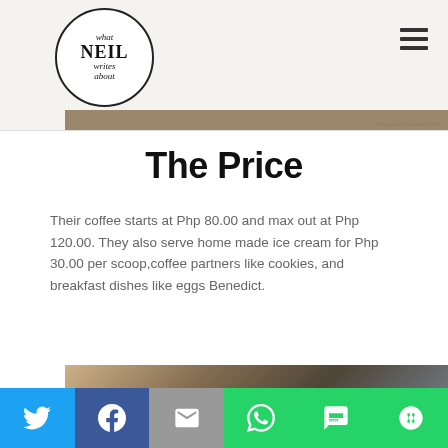[Figure (logo): What Neil Writes About circular logo with text]
[Figure (photo): Blurred coffee shop background photo header]
The Price
Their coffee starts at Php 80.00 and max out at Php 120.00. They also serve home made ice cream for Php 30.00 per scoop,coffee partners like cookies, and breakfast dishes like eggs Benedict.
[Figure (photo): Blurred cafe interior photo]
[Figure (infographic): Social sharing bar with Twitter, Facebook, Email, WhatsApp, SMS, and More buttons]